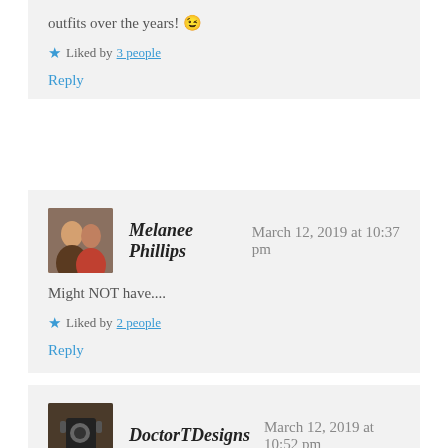outfits over the years! 😉
Liked by 3 people
Reply
Melanee Phillips   March 12, 2019 at 10:37 pm
Might NOT have....
Liked by 2 people
Reply
DoctorTDesigns   March 12, 2019 at 10:52 pm